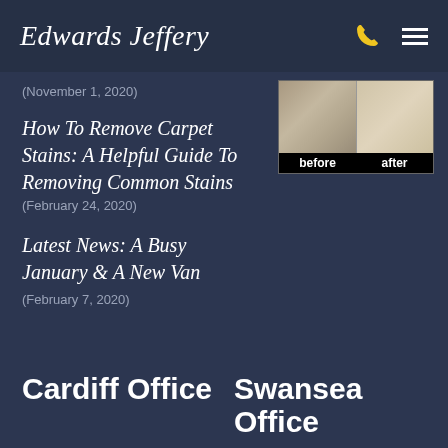Edwards Jeffery
(November 1, 2020)
[Figure (photo): Before and after carpet cleaning comparison photo]
How To Remove Carpet Stains: A Helpful Guide To Removing Common Stains (February 24, 2020)
Latest News: A Busy January & A New Van (February 7, 2020)
Cardiff Office
Swansea Office